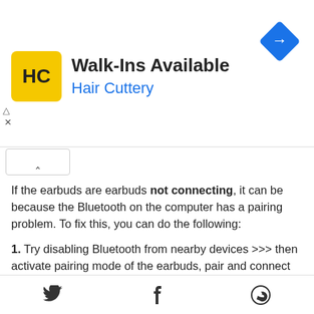[Figure (other): Hair Cuttery advertisement banner with yellow HC logo, 'Walk-Ins Available' heading, blue diamond arrow icon, and ad close controls]
If the earbuds are earbuds not connecting, it can be because the Bluetooth on the computer has a pairing problem. To fix this, you can do the following:
1. Try disabling Bluetooth from nearby devices >>> then activate pairing mode of the earbuds, pair and connect earbuds from Settings >>> Bluetooth & other devices >>> Add a new device >>>> elect Bluetooth,
2. Try uninstalling and reinstalling the Bluetooth driver, or update the Bluetooth driver. All can be done in Manage >>> Device Manager, reset earbuds (if available), and then
[Figure (other): Bottom navigation bar with Twitter, Facebook, and WhatsApp share icons]